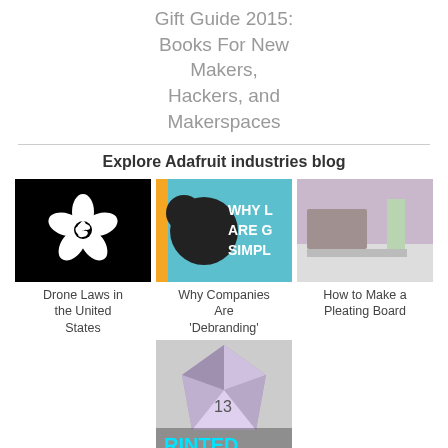Gift Guide 2015: Books For New Makers, Hackers, and Makerspaces
Explore Adafruit industries blog
[Figure (photo): Black background with white flower logo - Drone Laws in the United States]
Drone Laws in the United States
[Figure (photo): Bee graphic with text WHY LAWS ARE GOING SIMPLE - Why Companies Are 'Debranding']
Why Companies Are 'Debranding'
[Figure (photo): Room scene with candle and desk - How to Make a Pleating Board]
How to Make a Pleating Board
[Figure (photo): 3D printed D20 gaming die with cyan PRINTED text]
Talking D20 Gaming Die #3DPrinting